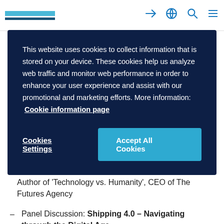[Website header with logo and navigation icons]
This website uses cookies to collect information that is stored on your device. These cookies help us analyze web traffic and monitor web performance in order to enhance your user experience and assist with our promotional and marketing efforts. More information: Cookie information page
Cookies Settings | Accept All Cookies
Ports in the next 10 Years, Gerd Leonhard, Futurist, Author of 'Technology vs. Humanity', CEO of The Futures Agency
Panel Discussion: Shipping 4.0 – Navigating through the Digital Age